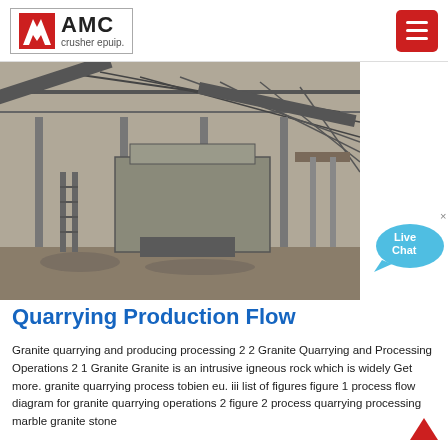AMC crusher epuip.
[Figure (photo): Industrial quarrying/crushing facility with metal framework structure, conveyor belts, and heavy crushing machinery inside a steel-roof shed]
Quarrying Production Flow
Granite quarrying and producing processing 2 2 Granite Quarrying and Processing Operations 2 1 Granite Granite is an intrusive igneous rock which is widely Get more. granite quarrying process tobien eu. iii list of figures figure 1 process flow diagram for granite quarrying operations 2 figure 2 process quarrying processing marble granite stone